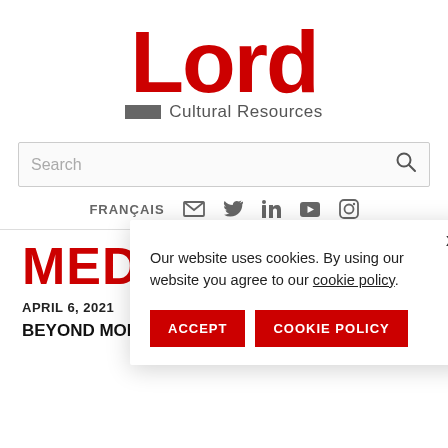[Figure (logo): Lord Cultural Resources logo: large red 'Lord' text with grey rectangle and 'Cultural Resources' subtitle]
Search
FRANÇAIS
Our website uses cookies. By using our website you agree to our cookie policy.
ACCEPT
COOKIE POLICY
MEDIA
APRIL 6, 2021
BEYOND MONET: THE IMMERSIVE EXPERIENCE